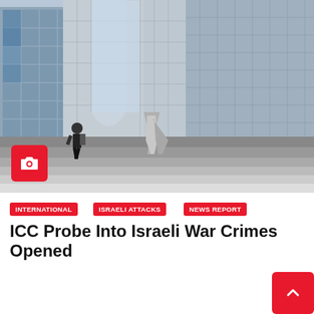[Figure (photo): Low-angle photo of a modern glass skyscraper complex with a metallic sculpture in the foreground and a person ascending stairs, likely the ICC building in The Hague.]
INTERNATIONAL
ISRAELI ATTACKS
NEWS REPORT
ICC Probe Into Israeli War Crimes Opened